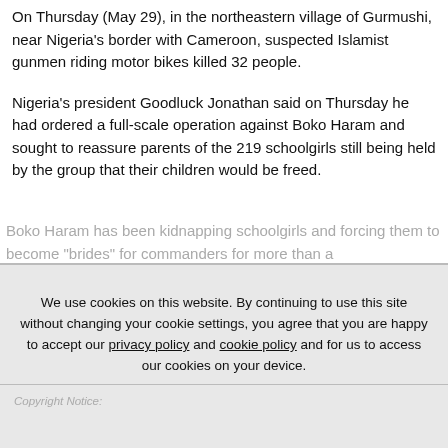On Thursday (May 29), in the northeastern village of Gurmushi, near Nigeria's border with Cameroon, suspected Islamist gunmen riding motor bikes killed 32 people.
Nigeria's president Goodluck Jonathan said on Thursday he had ordered a full-scale operation against Boko Haram and sought to reassure parents of the 219 schoolgirls still being held by the group that their children would be freed.
Boko Haram has been kidnapping schoolgirls and forcing them to become "brides" for commanders for more than a
We use cookies on this website. By continuing to use this site without changing your cookie settings, you agree that you are happy to accept our privacy policy and cookie policy and for us to access our cookies on your device.
Accept
Copyright Notice: